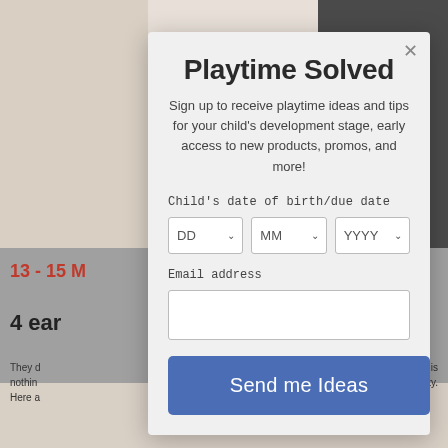[Figure (screenshot): Background webpage showing lifestyle photos of children playing, with partial text '13 - 15 M', '4 ear', and body text visible behind the modal overlay. Blue decorative blobs visible.]
Playtime Solved
Sign up to receive playtime ideas and tips for your child's development stage, early access to new products, promos, and more!
Child's date of birth/due date
DD  MM  YYYY
Email address
Send me Ideas